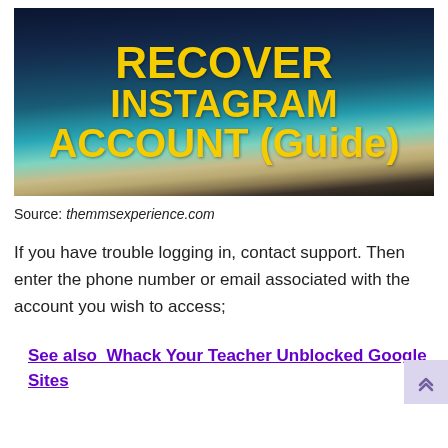[Figure (illustration): Hero image with ocean/beach background showing text 'RECOVER INSTAGRAM ACCOUNT (Guide)' in bold yellow letters on a dark blue/teal sky and water scene.]
Source: themmsexperience.com
If you have trouble logging in, contact support. Then enter the phone number or email associated with the account you wish to access;
See also  Whack Your Teacher Unblocked Google Sites